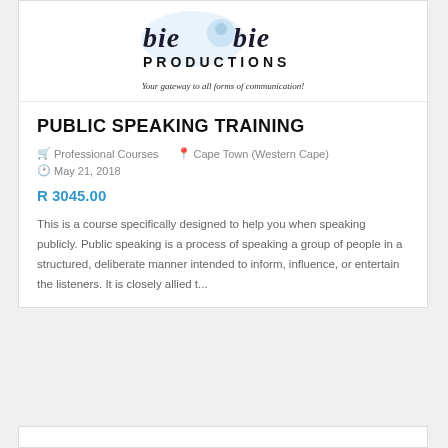[Figure (logo): Bie Bie Productions logo with stylized text and illustration, tagline: Your gateway to all forms of communication!]
PUBLIC SPEAKING TRAINING
Professional Courses   Cape Town (Western Cape)   May 21, 2018
R 3045.00
This is a course specifically designed to help you when speaking publicly. Public speaking is a process of speaking a group of people in a structured, deliberate manner intended to inform, influence, or entertain the listeners. It is closely allied t...